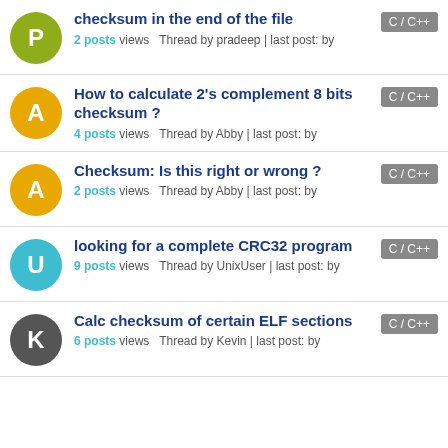checksum in the end of the file
2 posts views Thread by pradeep | last post: by
C / C++
How to calculate 2's complement 8 bits checksum ?
4 posts views Thread by Abby | last post: by
C / C++
Checksum: Is this right or wrong ?
2 posts views Thread by Abby | last post: by
C / C++
looking for a complete CRC32 program
9 posts views Thread by UnixUser | last post: by
C / C++
Calc checksum of certain ELF sections
6 posts views Thread by Kevin | last post: by
C / C++